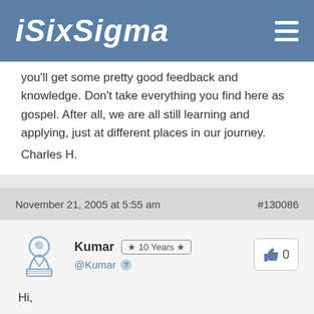ISIXSIGMA
you'll get some pretty good feedback and knowledge.  Don't take everything you find here as gospel.  After all, we are all still learning and applying, just at different places in our journey.
Charles H.
November 21, 2005 at 5:55 am    #130086
Kumar  ★ 10 Years ★  @Kumar    0
Hi,
I have some website ref and good PPTs.
please contact me in abcabc_12000@yahoo.com